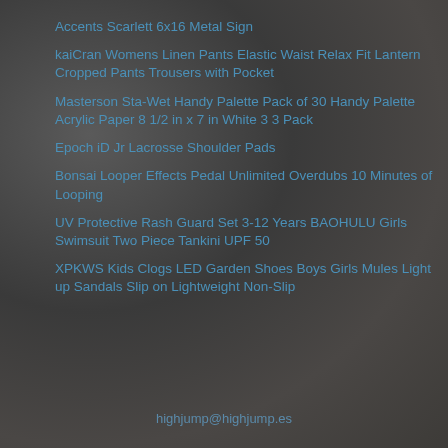Accents Scarlett 6x16 Metal Sign
kaiCran Womens Linen Pants Elastic Waist Relax Fit Lantern Cropped Pants Trousers with Pocket
Masterson Sta-Wet Handy Palette Pack of 30 Handy Palette Acrylic Paper 8 1/2 in x 7 in White 3 3 Pack
Epoch iD Jr Lacrosse Shoulder Pads
Bonsai Looper Effects Pedal Unlimited Overdubs 10 Minutes of Looping
UV Protective Rash Guard Set 3-12 Years BAOHULU Girls Swimsuit Two Piece Tankini UPF 50
XPKWS Kids Clogs LED Garden Shoes Boys Girls Mules Light up Sandals Slip on Lightweight Non-Slip
highjump@highjump.es